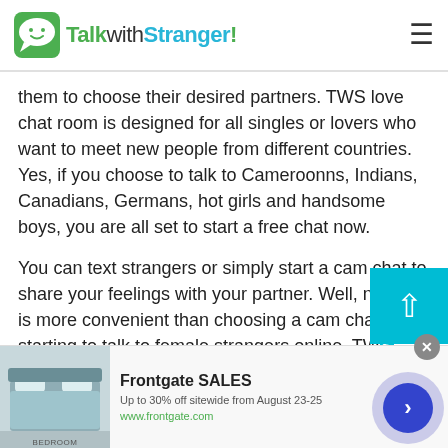TalkwithStranger!
them to choose their desired partners. TWS love chat room is designed for all singles or lovers who want to meet new people from different countries. Yes, if you choose to talk to Cameroonns, Indians, Canadians, Germans, hot girls and handsome boys, you are all set to start a free chat now.
You can text strangers or simply start a cam chat to share your feelings with your partner. Well, nothing is more convenient than choosing a cam chat and starting to talk to female strangers online. TWS
[Figure (screenshot): Frontgate SALES advertisement banner with bedroom image. Text: Frontgate SALES, Up to 30% off sitewide from August 23-25, www.frontgate.com]